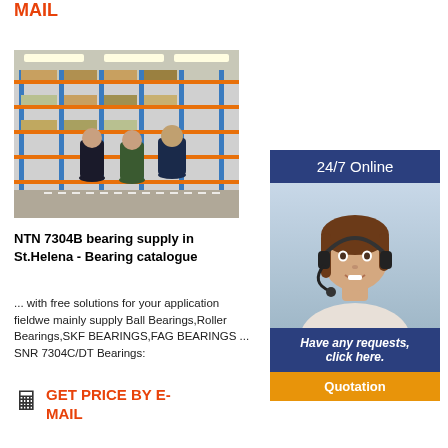MAIL
[Figure (photo): Warehouse interior with shelves full of boxes and three workers walking through the aisle]
[Figure (photo): 24/7 Online customer service panel with a woman wearing a headset smiling, blue background with 'Have any requests, click here.' text and an orange Quotation button]
NTN 7304B bearing supply in St.Helena - Bearing catalogue
... with free solutions for your application field⁠we mainly supply Ball Bearings,Roller Bearings,SKF BEARINGS,FAG BEARINGS ... SNR 7304C/DT Bearings:
GET PRICE BY E-MAIL